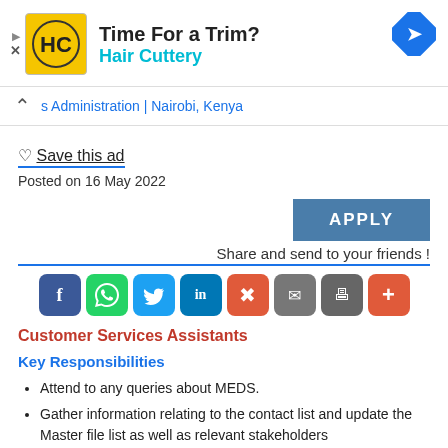[Figure (logo): Hair Cuttery advertisement banner with HC logo in yellow square, text 'Time For a Trim? Hair Cuttery', and a blue navigation diamond icon on the right]
s Administration | Nairobi, Kenya
♡ Save this ad
Posted on 16 May 2022
APPLY
Share and send to your friends !
[Figure (infographic): Row of 8 social media share icons: Facebook (blue), WhatsApp (green), Twitter (light blue), LinkedIn (dark blue), Google+ (orange-red), Email (gray), Print (dark gray), More/Plus (orange-red)]
Customer Services Assistants
Key Responsibilities
Attend to any queries about MEDS.
Gather information relating to the contact list and update the Master file list as well as relevant stakeholders
Handle communication of orders being processed to all stakeholders including but not limited to USAID, 3PL